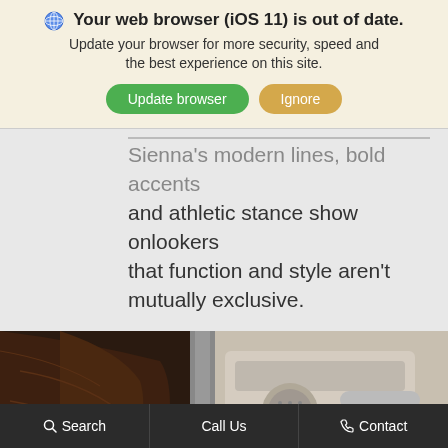🌐 Your web browser (iOS 11) is out of date. Update your browser for more security, speed and the best experience on this site. Update browser | Ignore
Sienna's modern lines, bold accents and athletic stance show onlookers that function and style aren't mutually exclusive.
[Figure (photo): Interior of a vehicle showing dark brown leather seat and light-colored door panel/trim area.]
Search   Call Us   Contact